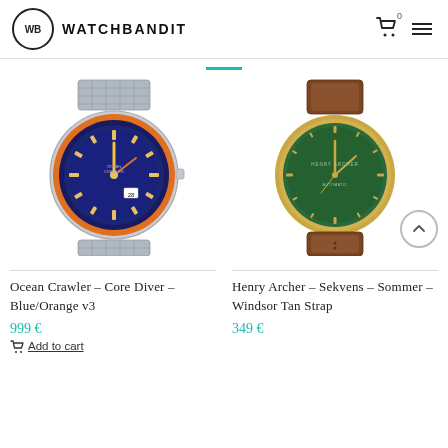WB WATCHBANDIT
[Figure (photo): Diver watch with blue and orange bezel, silver mesh bracelet - Ocean Crawler Core Diver Blue/Orange v3]
[Figure (photo): Minimalist watch with green dial, gold case, brown leather strap - Henry Archer Sekvens Sommer Windsor Tan Strap]
Ocean Crawler – Core Diver – Blue/Orange v3
999 €
Add to cart
Henry Archer – Sekvens – Sommer – Windsor Tan Strap
349 €